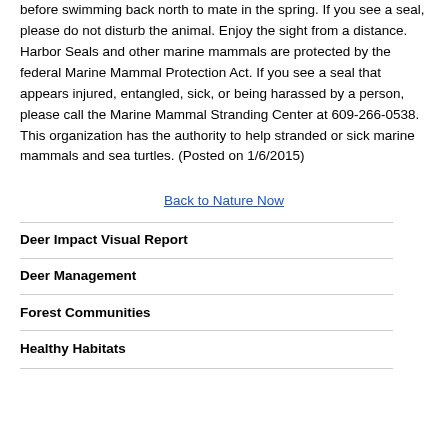before swimming back north to mate in the spring. If you see a seal, please do not disturb the animal. Enjoy the sight from a distance. Harbor Seals and other marine mammals are protected by the federal Marine Mammal Protection Act. If you see a seal that appears injured, entangled, sick, or being harassed by a person, please call the Marine Mammal Stranding Center at 609-266-0538. This organization has the authority to help stranded or sick marine mammals and sea turtles. (Posted on 1/6/2015)
Back to Nature Now
Deer Impact Visual Report
Deer Management
Forest Communities
Healthy Habitats